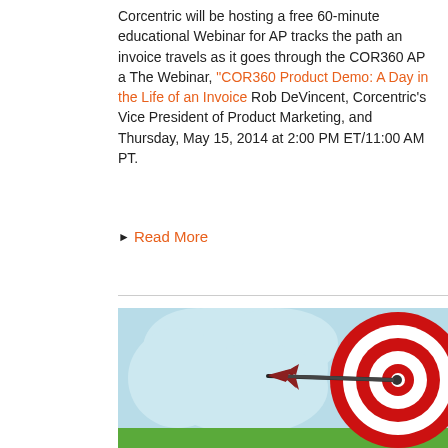Corcentric will be hosting a free 60-minute educational Webinar for AP tracks the path an invoice travels as it goes through the COR360 AP a The Webinar, "COR360 Product Demo: A Day in the Life of an Invoice Rob DeVincent, Corcentric's Vice President of Product Marketing, and Thursday, May 15, 2014 at 2:00 PM ET/11:00 AM PT.
Read More
[Figure (illustration): Illustration of a red and white bullseye target with a red arrow hitting near the center, set against a light blue cloud-like background with a green ground at the bottom.]